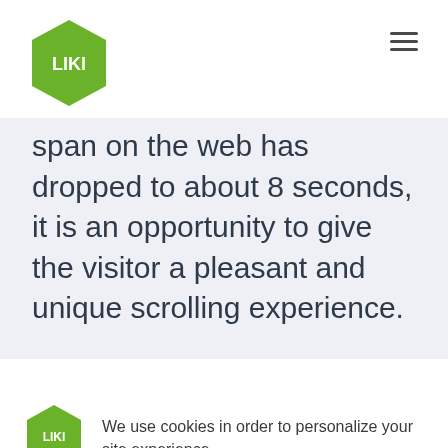[Figure (logo): LIKI green hexagon logo in header]
[Figure (other): Hamburger menu icon (three horizontal lines)]
span on the web has dropped to about 8 seconds, it is an opportunity to give the visitor a pleasant and unique scrolling experience.
[Figure (logo): LIKI green hexagon logo in cookie banner]
We use cookies in order to personalize your site experience.
Decline
Allow